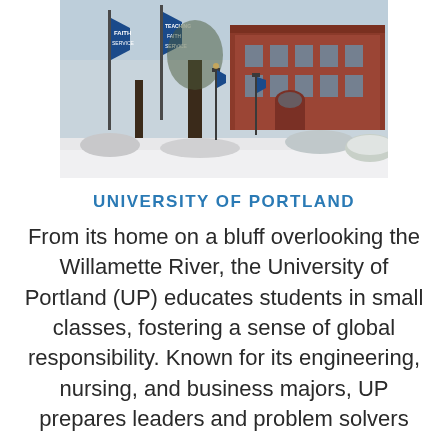[Figure (photo): Campus photo of University of Portland showing a red brick building with arched entrance, blue banners on lamp posts reading 'Faith', 'Service', 'Teaching', trees, and snow-dusted ground in winter.]
UNIVERSITY OF PORTLAND
From its home on a bluff overlooking the Willamette River, the University of Portland (UP) educates students in small classes, fostering a sense of global responsibility. Known for its engineering, nursing, and business majors, UP prepares leaders and problem solvers